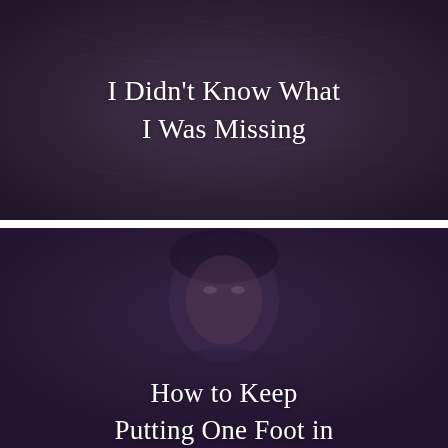[Figure (photo): Dark purple-toned textured background (soil/ground texture) with white centered text overlay reading 'I Didn't Know What I Was Missing']
I Didn't Know What I Was Missing
[Figure (photo): Dark purple-toned photo of a person's face partially visible, with white text overlay at bottom reading 'How to Keep Putting One Foot in']
How to Keep Putting One Foot in